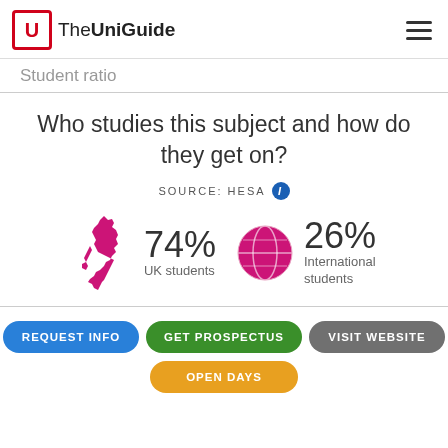The UniGuide
Student ratio
Who studies this subject and how do they get on?
SOURCE: HESA
[Figure (infographic): UK map icon (pink/magenta) with stat: 74% UK students; Globe icon (pink/magenta) with stat: 26% International students]
REQUEST INFO
GET PROSPECTUS
VISIT WEBSITE
OPEN DAYS